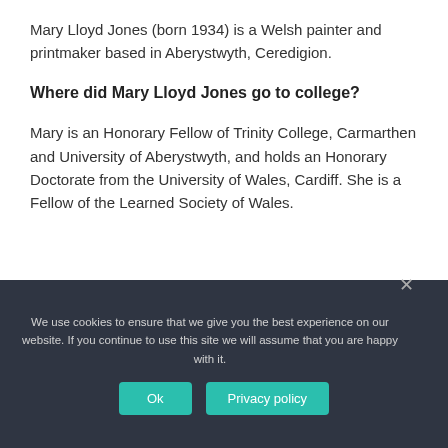Mary Lloyd Jones (born 1934) is a Welsh painter and printmaker based in Aberystwyth, Ceredigion.
Where did Mary Lloyd Jones go to college?
Mary is an Honorary Fellow of Trinity College, Carmarthen and University of Aberystwyth, and holds an Honorary Doctorate from the University of Wales, Cardiff. She is a Fellow of the Learned Society of Wales.
We use cookies to ensure that we give you the best experience on our website. If you continue to use this site we will assume that you are happy with it.